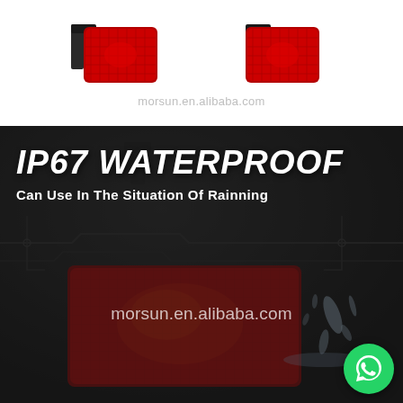[Figure (photo): Two red LED tail/marker lights with black mounting brackets on white background, with watermark text morsun.en.alibaba.com]
[Figure (photo): Dark background product advertisement image showing red LED tail light with water splash, circuit board decorative pattern, morsun.en.alibaba.com watermark, IP67 WATERPROOF text, and WhatsApp icon button]
IP67 WATERPROOF
Can Use In The Situation Of Rainning